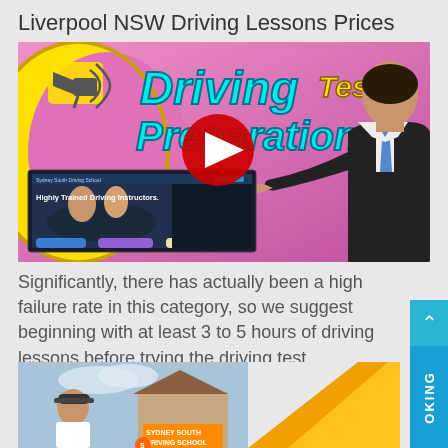Liverpool NSW Driving Lessons Prices
[Figure (screenshot): YouTube video thumbnail for 'Driving Test Preparation' featuring colorful text on a pink background with a man in a suit pointing, and a small inset image of a driving school website]
Significantly, there has actually been a high failure rate in this category, so we suggest beginning with at least 3 to 5 hours of driving lessons before trying the driving test
[Figure (photo): Bottom portion of a composite image showing a man with a cap in front of a house, and what appears to be a Sydney South Driving School sign/brochure]